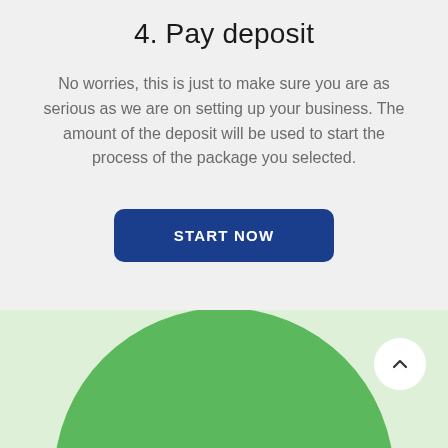4. Pay deposit
No worries, this is just to make sure you are as serious as we are on setting up your business. The amount of the deposit will be used to start the process of the package you selected.
[Figure (other): Dark blue rounded rectangle button with white uppercase text 'START NOW']
[Figure (illustration): Light green background section with a large green circle centered at the bottom, and a white circular scroll-up button in the upper right corner containing an upward chevron arrow.]